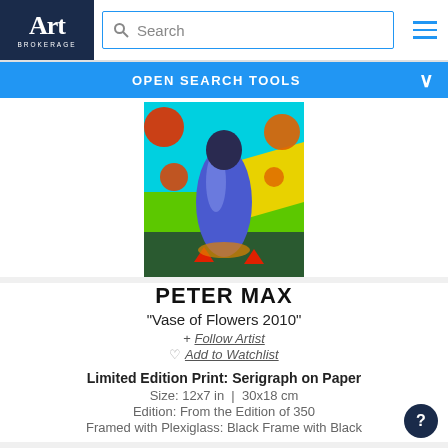[Figure (logo): Art Brokerage logo — white 'Art' text on dark navy background with 'BROKERAGE' in small caps below]
Search
[Figure (screenshot): Colorful painting of a dark blue vase with red flowers/fruits on a bright cyan/yellow/green background by Peter Max]
PETER MAX
"Vase of Flowers 2010"
+ Follow Artist
Add to Watchlist
Limited Edition Print: Serigraph on Paper
Size: 12x7 in  |  30x18 cm
Edition: From the Edition of 350
Framed with Plexiglass: Black Frame with Black